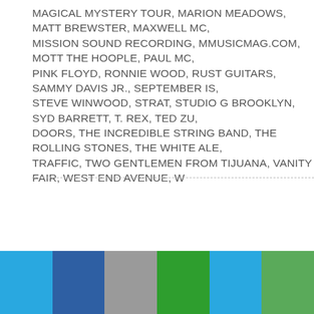MAGICAL MYSTERY TOUR, MARION MEADOWS, MATT BREWSTER, MAXWELL MC, MISSION SOUND RECORDING, MMUSICMAG.COM, MOTT THE HOOPLE, PAUL MC, PINK FLOYD, RONNIE WOOD, RUST GUITARS, SAMMY DAVIS JR., SEPTEMBER IS, STEVE WINWOOD, STRAT, STUDIO G BROOKLYN, SYD BARRETT, T. REX, TED ZU, DOORS, THE INCREDIBLE STRING BAND, THE ROLLING STONES, THE WHITE ALE, TRAFFIC, TWO GENTLEMEN FROM TIJUANA, VANITY FAIR, WEST END AVENUE, W
[Figure (infographic): Six colored rectangular blocks in a horizontal row at the bottom of the page: light blue, dark blue, gray, green, light blue, light green]